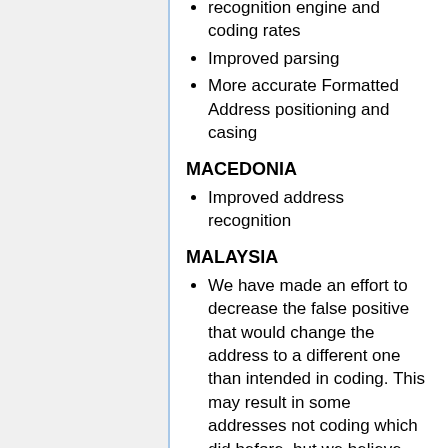recognition engine and coding rates
Improved parsing
More accurate Formatted Address positioning and casing
MACEDONIA
Improved address recognition
MALAYSIA
We have made an effort to decrease the false positive that would change the address to a different one than intended in coding. This may result in some addresses not coding which did before, but we believe the tradeoff for better overall quality is worth it.
Improved general parsing and sub-promise level parsing